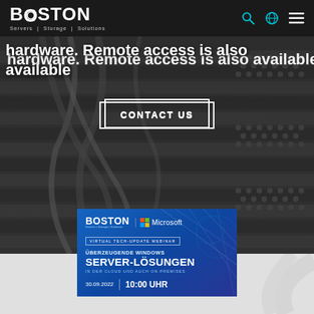BOSTON Servers | Storage | Solutions
hardware. Remote access is also available
CONTACT US
[Figure (screenshot): Boston and Microsoft virtual tech-update webinar promotional card with blue gradient background showing: BOSTON logo, Microsoft logo, 'VIRTUAL TECH-UPDATE WEBINAR', 'ÜBERZEUGENDE WINDOWS SERVER-LÖSUNGEN IN DER CLOUD UND AUCH ON-PREMISES', '30.09.2022 | 10:00 UHR']